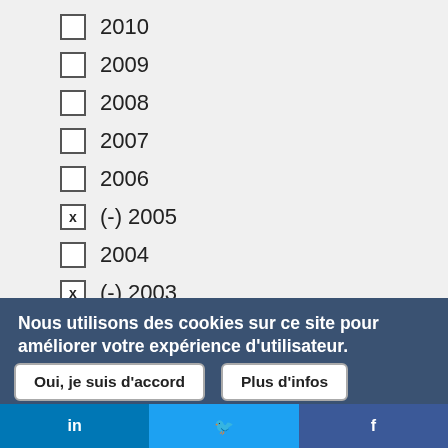2010
2009
2008
2007
2006
(-) 2005
2004
(-) 2003
(-) 2002
Nous utilisons des cookies sur ce site pour améliorer votre expérience d'utilisateur.
En cliquant sur un lien de cette page, vous nous donnez votre consentement de définir des cookies.
Oui, je suis d'accord
Plus d'infos
in   🐦   f